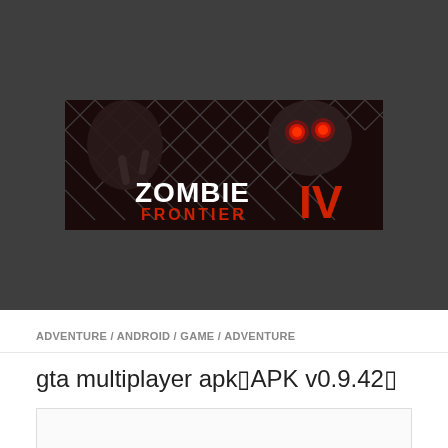[Figure (screenshot): Zombie Frontier IV game banner image showing a zombie behind a chain-link fence with red glowing eyes, with the text 'ZOMBIE FRONTIER IV' overlaid in white and red letters. The banner is displayed within a dark gray website header area.]
ADVENTURE / ANDROID / GAME / ADVENTURE
gta multiplayer apk▯APK v0.9.42▯